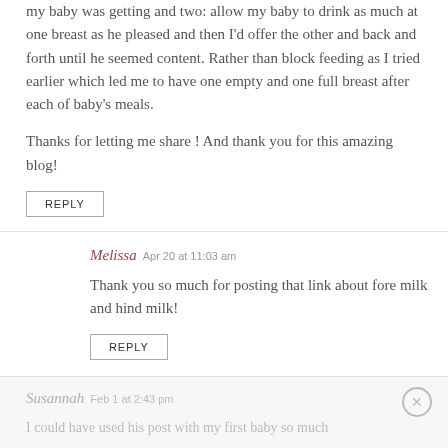my baby was getting and two: allow my baby to drink as much at one breast as he pleased and then I'd offer the other and back and forth until he seemed content. Rather than block feeding as I tried earlier which led me to have one empty and one full breast after each of baby's meals.
Thanks for letting me share ! And thank you for this amazing blog!
REPLY
Melissa Apr 20 at 11:03 am
Thank you so much for posting that link about fore milk and hind milk!
REPLY
Susannah Feb 1 at 2:43 pm
I could have used his post with my first baby so much